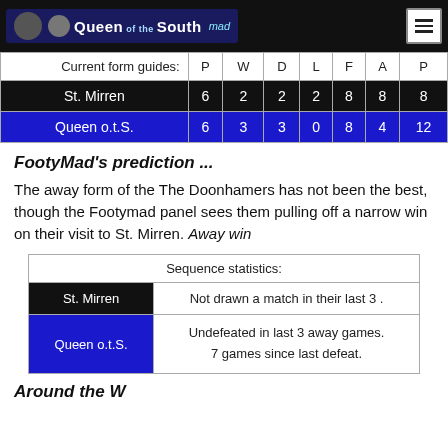Queen of the South
| Current form guides: | P | W | D | L | F | A | P |
| --- | --- | --- | --- | --- | --- | --- | --- |
| St. Mirren | 6 | 2 | 2 | 2 | 8 | 8 | 8 |
| Queen o.t.S. | 6 | 3 | 3 | 0 | 8 | 4 | 12 |
FootyMad's prediction ...
The away form of the The Doonhamers has not been the best, though the Footymad panel sees them pulling off a narrow win on their visit to St. Mirren. Away win
| Sequence statistics: |
| --- |
| St. Mirren | Not drawn a match in their last 3 . |
| Queen o.t.S. | Undefeated in last 3 away games.
7 games since last defeat. |
Around the Web